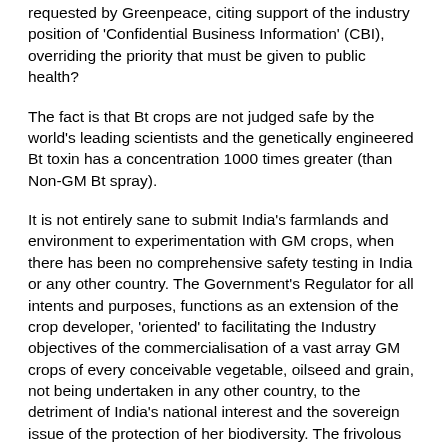requested by Greenpeace, citing support of the industry position of 'Confidential Business Information' (CBI), overriding the priority that must be given to public health?
The fact is that Bt crops are not judged safe by the world's leading scientists and the genetically engineered Bt toxin has a concentration 1000 times greater (than Non-GM Bt spray).
It is not entirely sane to submit India's farmlands and environment to experimentation with GM crops, when there has been no comprehensive safety testing in India or any other country. The Government's Regulator for all intents and purposes, functions as an extension of the crop developer, 'oriented' to facilitating the Industry objectives of the commercialisation of a vast array GM crops of every conceivable vegetable, oilseed and grain, not being undertaken in any other country, to the detriment of India's national interest and the sovereign issue of the protection of her biodiversity. The frivolous measures that pass for safety testing of GM crops in India represent a National emergency and it must be assumed that the Prime Minister and his Cabinet have been misled by the Regulator about the true impacts of GM crops.
The Contamination of India's Biodiversity by genetically engineered crops will have the gravest impacts of many magnitudes, and will be in PERPETUITY.
India is one of 17 centres of MEGADIVERSITY in the world. This means that many plants have their centre of origin in India, exist in the wild and have been domesticated from wild species over a long